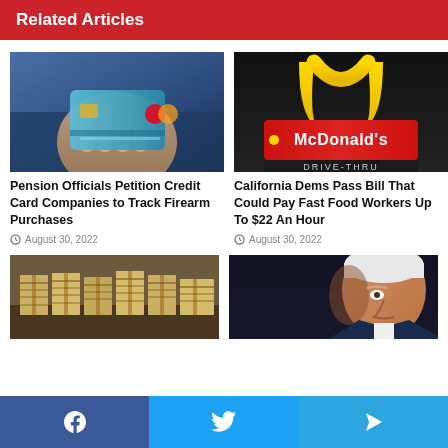Related Articles
[Figure (photo): Hand holding a blue credit card with Mastercard logo]
Pension Officials Petition Credit Card Companies to Track Firearm Purchases
August 30, 2022
[Figure (photo): McDonald's sign with Drive-Thru, golden arches on dark background]
California Dems Pass Bill That Could Pay Fast Food Workers Up To $22 An Hour
August 30, 2022
[Figure (photo): Stacks of wrapped money bundled together]
[Figure (photo): Close-up of President Biden's face]